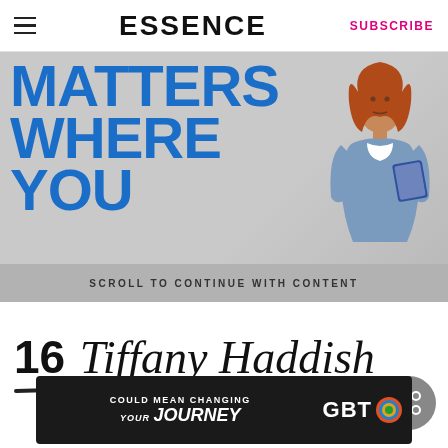ESSENCE | SUBSCRIBE
[Figure (screenshot): Advertisement banner showing text 'MATTERS WHERE YOU' in large blue bold font with a young woman with red hair in a denim jacket on the right side, and a gray bar at bottom reading 'SCROLL TO CONTINUE WITH CONTENT']
16 Tiffany Haddish
[Figure (screenshot): Dark advertisement banner reading 'COULD MEAN CHANGING YOUR JOURNEY' with GBT logo on the right]